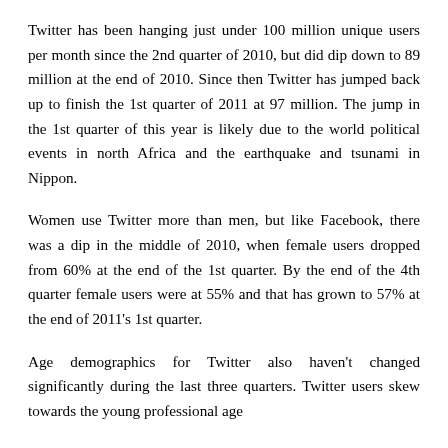Twitter has been hanging just under 100 million unique users per month since the 2nd quarter of 2010, but did dip down to 89 million at the end of 2010. Since then Twitter has jumped back up to finish the 1st quarter of 2011 at 97 million. The jump in the 1st quarter of this year is likely due to the world political events in north Africa and the earthquake and tsunami in Nippon.
Women use Twitter more than men, but like Facebook, there was a dip in the middle of 2010, when female users dropped from 60% at the end of the 1st quarter. By the end of the 4th quarter female users were at 55% and that has grown to 57% at the end of 2011's 1st quarter.
Age demographics for Twitter also haven't changed significantly during the last three quarters. Twitter users skew towards the young professional age